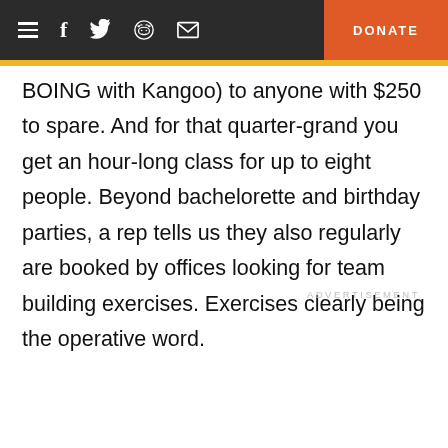≡  f  🐦  👾  ✉  DONATE
BOING with Kangoo) to anyone with $250 to spare. And for that quarter-grand you get an hour-long class for up to eight people. Beyond bachelorette and birthday parties, a rep tells us they also regularly are booked by offices looking for team building exercises. Exercises clearly being the operative word.
ADVERTISEMENT